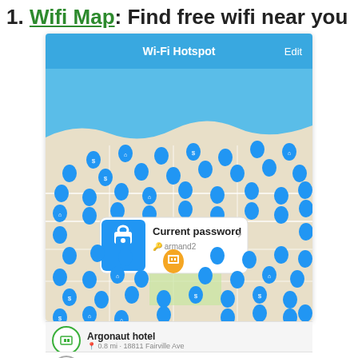1. Wifi Map: Find free wifi near you
[Figure (screenshot): Screenshot of the Wifi Map app showing a map with Wi-Fi hotspot pins, a blue header bar reading 'Wi-Fi Hotspot' and 'Edit', a popup card showing 'Current password' with the password 'armand2', and a bottom card listing 'Argonaut hotel' at '0.8 mi - 18811 Fairville Ave' and 'ARGONAUT WIFI']
Argonaut hotel
0.8 mi - 18811 Fairville Ave